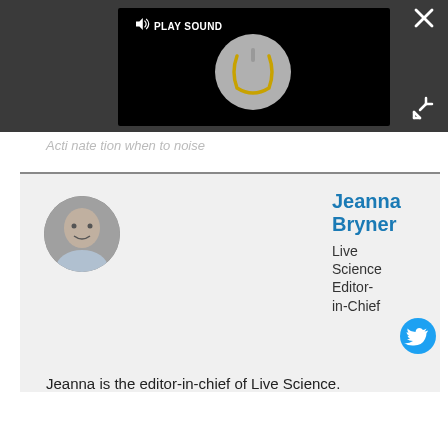[Figure (screenshot): Video player with PLAY SOUND button overlay, showing a power button icon on a gray circle against black background. Close (X) and expand arrows buttons visible on right side.]
Jeanna Bryner
Live Science Editor-in-Chief
Jeanna is the editor-in-chief of Live Science.